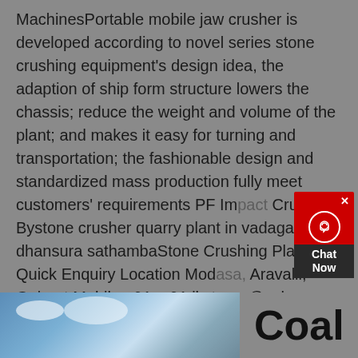MachinesPortable mobile jaw crusher is developed according to novel series stone crushing equipment's design idea, the adaption of ship form structure lowers the chassis; reduce the weight and volume of the plant; and makes it easy for turning and transportation; the fashionable design and standardized mass production fully meet customers' requirements PF Impact Crusher Bystone crusher quarry plant in vadagam dhansura sathambaStone Crushing Plant Quick Enquiry Location Modasa, Aravalli, Gujarat Mobile +91, +91 jkstrong@yahoo Web wwwstrongindiacrusher Welcome to our Website Strong India is a credible name in the market We manufacture, export and supply a wide range of plants like Mineral Crushing Plant, Mineral Screening Plant,M/s, ZAHOORBHAI K MISTRY Stone Crushing Plant
[Figure (photo): Partial photo of a blue sky with clouds at the bottom left of the page]
Coal